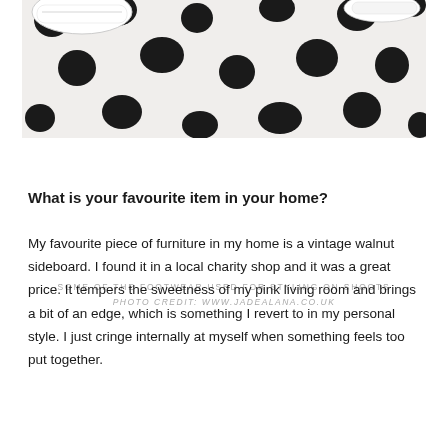[Figure (photo): Black and white polka dot rug/carpet with shoes (white Converse sneakers and white heels) placed on it, viewed from above.]
SOME OF THE FOOTWEAR USED FOR STYLING ON SHOOTS
PHOTO CREDIT: WWW.JADEALANA.CO.UK
What is your favourite item in your home?
My favourite piece of furniture in my home is a vintage walnut sideboard. I found it in a local charity shop and it was a great price. It tempers the sweetness of my pink living room and brings a bit of an edge, which is something I revert to in my personal style. I just cringe internally at myself when something feels too put together.